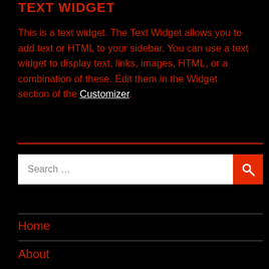TEXT WIDGET
This is a text widget. The Text Widget allows you to add text or HTML to your sidebar. You can use a text widget to display text, links, images, HTML, or a combination of these. Edit them in the Widget section of the Customizer.
[Figure (other): Search bar with text input field and red search button with magnifying glass icon]
Home
About